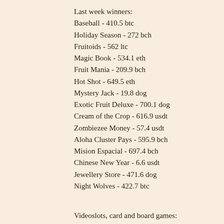Last week winners:
Baseball - 410.5 btc
Holiday Season - 272 bch
Fruitoids - 562 ltc
Magic Book - 534.1 eth
Fruit Mania - 209.9 bch
Hot Shot - 649.5 eth
Mystery Jack - 19.8 dog
Exotic Fruit Deluxe - 700.1 dog
Cream of the Crop - 616.9 usdt
Zombiezee Money - 57.4 usdt
Aloha Cluster Pays - 595.9 bch
Mision Espacial - 697.4 bch
Chinese New Year - 6.6 usdt
Jewellery Store - 471.6 dog
Night Wolves - 422.7 btc
Videoslots, card and board games:
mBTC free bet Blazing Star
Diamond Reels Casino Odysseus